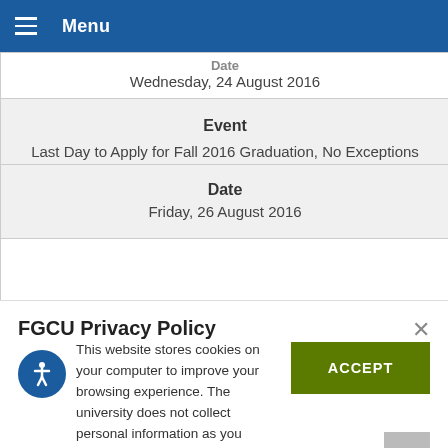Menu
| Date | Event | Date |
| --- | --- | --- |
| Wednesday, 24 August 2016 |  |  |
| Last Day to Apply for Fall 2016 Graduation, No Exceptions |  |  |
| Friday, 26 August 2016 |  |  |
FGCU Privacy Policy
This website stores cookies on your computer to improve your browsing experience. The university does not collect personal information as you browse. Learn about our Privacy and GDPR statements.